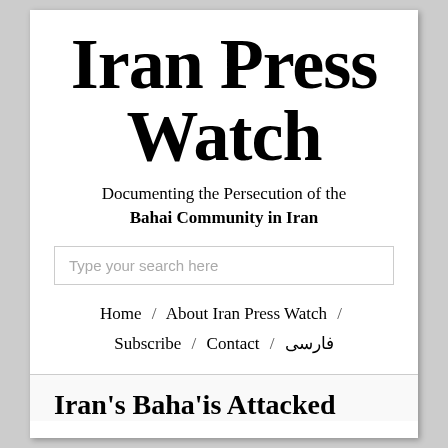Iran Press Watch
Documenting the Persecution of the Bahai Community in Iran
[Figure (other): Search input box with placeholder text 'Type your search here']
Home / About Iran Press Watch / Subscribe / Contact / فارسی
Iran's Baha'is Attacked